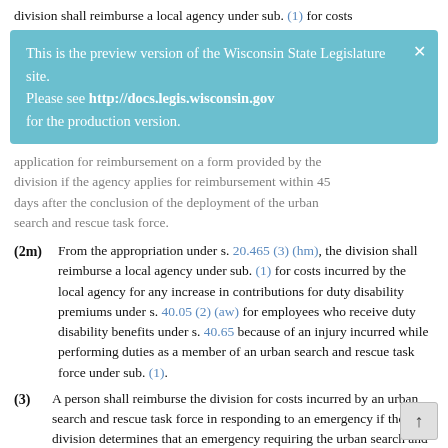division shall reimburse a local agency under sub. (1) for costs
[Figure (screenshot): Blue preview banner reading: 'This is the preview version of the Wisconsin State Legislature site. Please see http://docs.legis.wisconsin.gov for the production version.' with a close X button.]
application for reimbursement on a form provided by the division if the agency applies for reimbursement within 45 days after the conclusion of the deployment of the urban search and rescue task force.
(2m) From the appropriation under s. 20.465 (3) (hm), the division shall reimburse a local agency under sub. (1) for costs incurred by the local agency for any increase in contributions for duty disability premiums under s. 40.05 (2) (aw) for employees who receive duty disability benefits under s. 40.65 because of an injury incurred while performing duties as a member of an urban search and rescue task force under sub. (1).
(3) A person shall reimburse the division for costs incurred by an urban search and rescue task force in responding to an emergency if the division determines that an emergency requiring the urban search and rescue task force's response existed and that the person caused the emergency.
(4) A member of an urban search and rescue task force who is acting under a contract under sub. (1) is considered an employee of the state for purposes of worker's compensation